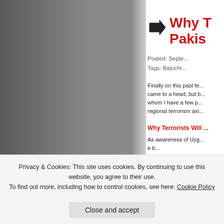[Figure (photo): Grayscale photo with torn/ragged right edge, showing a dark figure against a gray background]
Why T... Pakis...
Posted: Septe...
Tags: Baluchi...
Finally on this past fe... came to a head, but b... whom I have a few p... regional terrorism axi...
Why Terrorists Will ...
As awareness of Uyg... e b...
Privacy & Cookies: This site uses cookies. By continuing to use this website, you agree to their use.
To find out more, including how to control cookies, see here: Cookie Policy
Close and accept